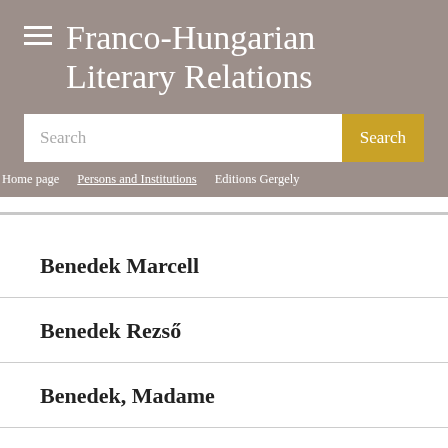Franco-Hungarian Literary Relations
Search
Home page | Persons and Institutions | Editions Gergely
Benedek Marcell
Benedek Rezső
Benedek, Madame
Benelli, Giovanni